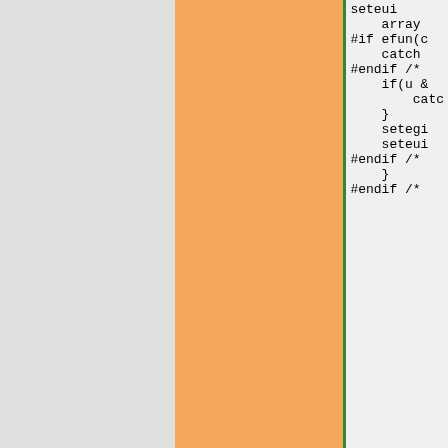| hash | date | author | code |
| --- | --- | --- | --- |
|  |  |  | seteui
    array
#if efun(c
    catch
#endif /*
    if(u &
        catc
    }
    setegi
    seteui
#endif /*
    }
#endif /* |
| c5e096 | 1999-10-04 | Per Hedbor | } |
| 0f8b2f | 1999-03-27 | Henrik Grubbström (Grubba) | /* Used by
 * overloa
 */
static obj
{
  return P
} |
| 2ff846 | 1999-09-02 | Per Hedbor | #ifndef TH |
| b796b5 | 1998-11-18 | Per Hedbor | class cont
{
  mixed va
  mixed se |